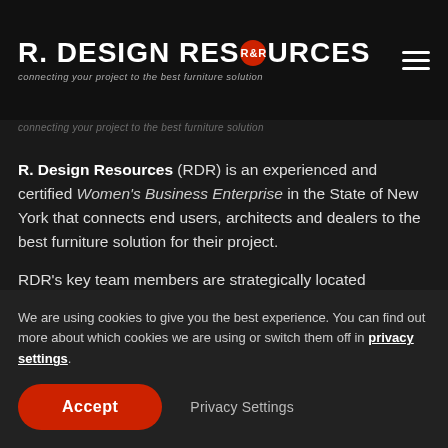R. DESIGN RESOURCES — connecting your project to the best furniture solution
connecting your project to the best furniture solution
R. Design Resources (RDR) is an experienced and certified Women's Business Enterprise in the State of New York that connects end users, architects and dealers to the best furniture solution for their project.
RDR's key team members are strategically located
We are using cookies to give you the best experience. You can find out more about which cookies we are using or switch them off in privacy settings.